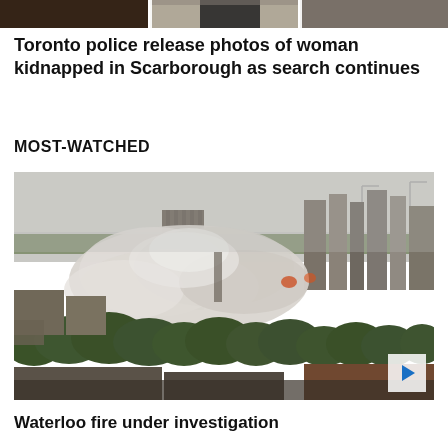[Figure (photo): Partial top strip of a news article image showing what appears to be a person in a dark jacket, cropped at the top of the page]
Toronto police release photos of woman kidnapped in Scarborough as search continues
MOST-WATCHED
[Figure (photo): Aerial cityscape photo showing a large cloud of smoke rising above trees and buildings in an urban area, with tall residential buildings in the background under an overcast sky. A video play button is visible in the bottom-right corner.]
Waterloo fire under investigation